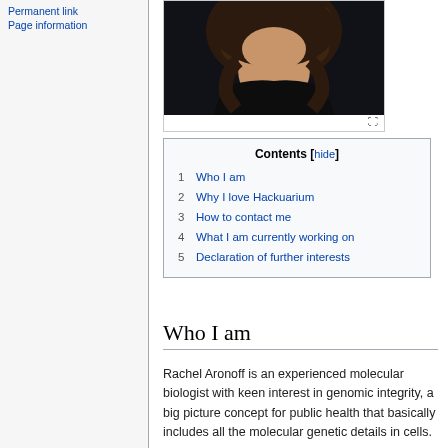Permanent link
Page information
[Figure (photo): Portrait photo of a woman with dark curly hair wearing a dark top, photographed against a dark background.]
| Contents [hide] |
| --- |
| 1 Who I am |
| 2 Why I love Hackuarium |
| 3 How to contact me |
| 4 What I am currently working on |
| 5 Declaration of further interests |
Who I am
Rachel Aronoff is an experienced molecular biologist with keen interest in genomic integrity, a big picture concept for public health that basically includes all the molecular genetic details in cells.